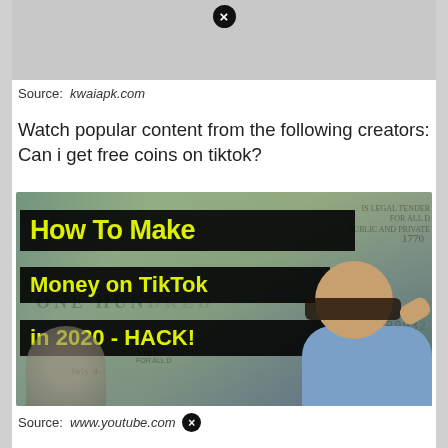[Figure (photo): Gray placeholder image with black circle X close button at top center]
Source: kwaiapk.com
Watch popular content from the following creators: Can i get free coins on tiktok?
[Figure (photo): YouTube thumbnail showing 'How To Make Money on TikTok in 2020 - HACK!' with yellow text on black bars, overlaid on dollar bill images and a man with sunglasses]
Source: www.youtube.com